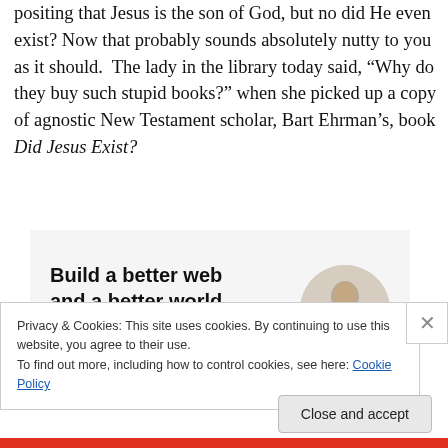positing that Jesus is the son of God, but no did He even exist? Now that probably sounds absolutely nutty to you as it should.  The lady in the library today said, “Why do they buy such stupid books?” when she picked up a copy of agnostic New Testament scholar, Bart Ehrman’s, book Did Jesus Exist?
[Figure (infographic): Ad banner with bold text 'Build a better web and a better world.' with an Apply button and a photo of a man thinking.]
Privacy & Cookies: This site uses cookies. By continuing to use this website, you agree to their use.
To find out more, including how to control cookies, see here: Cookie Policy
Close and accept